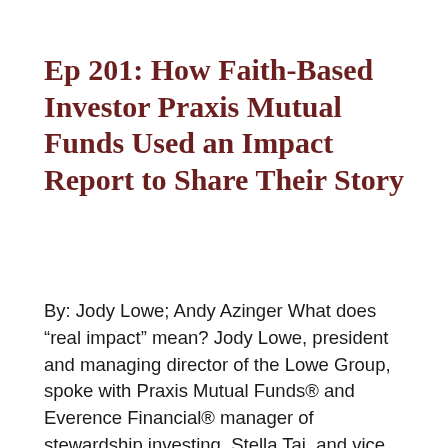Ep 201: How Faith-Based Investor Praxis Mutual Funds Used an Impact Report to Share Their Story
By: Jody Lowe; Andy Azinger What does “real impact” mean? Jody Lowe, president and managing director of the Lowe Group, spoke with Praxis Mutual Funds® and Everence Financial® manager of stewardship investing, Stella Tai, and vice president of stewardship investing, Mark Regier, for a behind the scenes conversation on the creation of their 2020 Impact Report. Duration: 30:09 […]